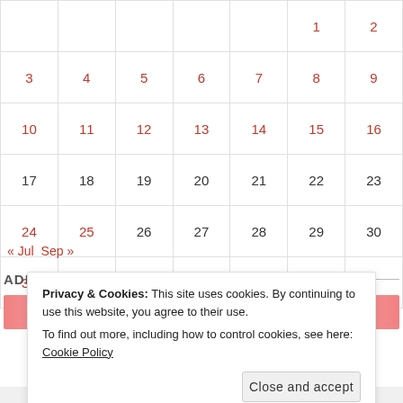| Sun | Mon | Tue | Wed | Thu | Fri | Sat |
| --- | --- | --- | --- | --- | --- | --- |
|  |  |  |  |  | 1 | 2 |
| 3 | 4 | 5 | 6 | 7 | 8 | 9 |
| 10 | 11 | 12 | 13 | 14 | 15 | 16 |
| 17 | 18 | 19 | 20 | 21 | 22 | 23 |
| 24 | 25 | 26 | 27 | 28 | 29 | 30 |
| 31 |  |  |  |  |  |  |
« Jul   Sep »
ADD MY BUTTON!
[Figure (illustration): Pink/rose watercolor banner image]
Privacy & Cookies: This site uses cookies. By continuing to use this website, you agree to their use.
To find out more, including how to control cookies, see here: Cookie Policy
Close and accept